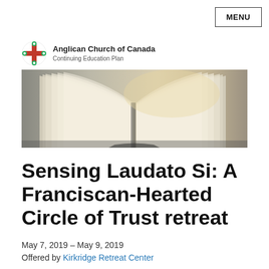MENU
[Figure (logo): Anglican Church of Canada Continuing Education Plan logo with cross emblem]
[Figure (photo): Open book with pages fanning out, warm beige/cream tones, blurred background]
Sensing Laudato Si: A Franciscan-Hearted Circle of Trust retreat
May 7, 2019 - May 9, 2019
Offered by Kirkridge Retreat Center